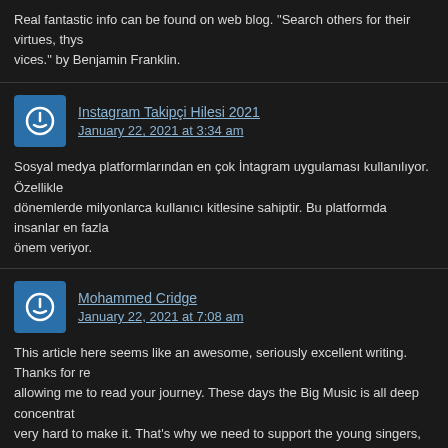Real fantastic info can be found on web blog. "Search others for their virtues, thys... vices." by Benjamin Franklin.
Instagram Takipçi Hilesi 2021 | January 22, 2021 at 3:34 am
Sosyal medya platformlarından en çok İntagram uygulaması kullanılıyor. Özellikle dönemlerde milyonlarca kullanıcı kitlesine sahiptir. Bu platformda insanlar en fazla önem veriyor.
Mohammed Cridge | January 22, 2021 at 7:08 am
This article here seems like an awesome, seriously excellent writing. Thanks for re... allowing me to read your journey. These days the Big Music is all deep concentrat... very hard to make it. That's why we need to support the young singers, watch thei... Instagram streams, help with fan support, share on favorite social hangs. Only wit... collective efforts can we achive effortless music database on Earth.
Isaura Aldrow | January 22, 2021 at 8:23 pm